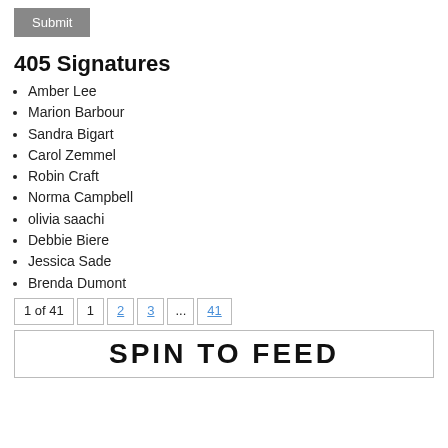Submit
405 Signatures
Amber Lee
Marion Barbour
Sandra Bigart
Carol Zemmel
Robin Craft
Norma Campbell
olivia saachi
Debbie Biere
Jessica Sade
Brenda Dumont
1 of 41  1  2  3  ...  41
[Figure (other): SPIN TO FEED banner image]